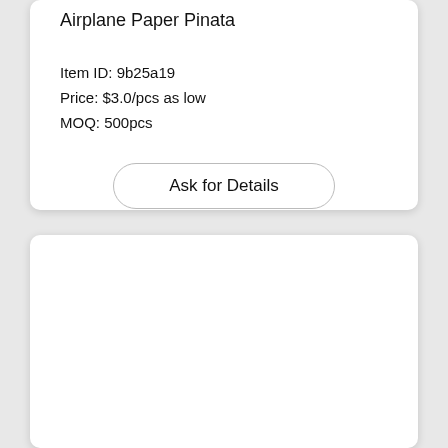Airplane Paper Pinata
Item ID: 9b25a19
Price: $3.0/pcs as low
MOQ: 500pcs
Ask for Details
[Figure (other): Empty white card area below the product listing card]